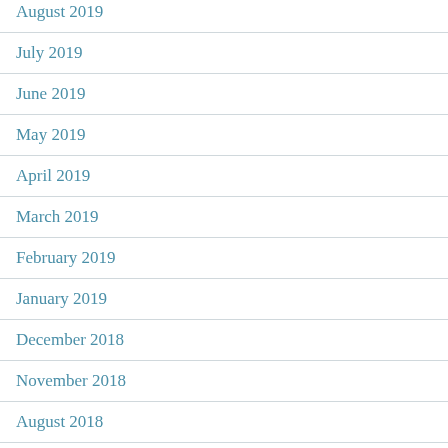August 2019
July 2019
June 2019
May 2019
April 2019
March 2019
February 2019
January 2019
December 2018
November 2018
August 2018
July 2018